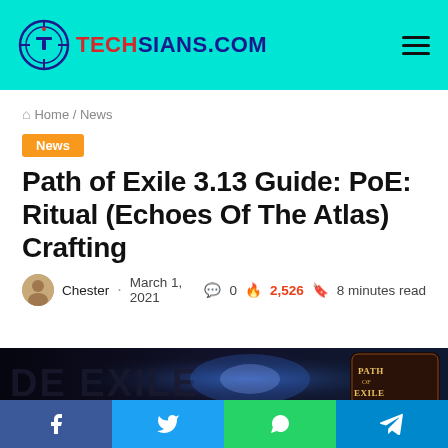TECHSIANS.COM
Home / News
News
Path of Exile 3.13 Guide: PoE: Ritual (Echoes Of The Atlas) Crafting
Chester · March 1, 2021  0  2,526  8 minutes read
[Figure (screenshot): Dark game screenshot showing Path of Exile title art with glowing blue elements and Path of Exile logo on the right]
Facebook Twitter WhatsApp Telegram